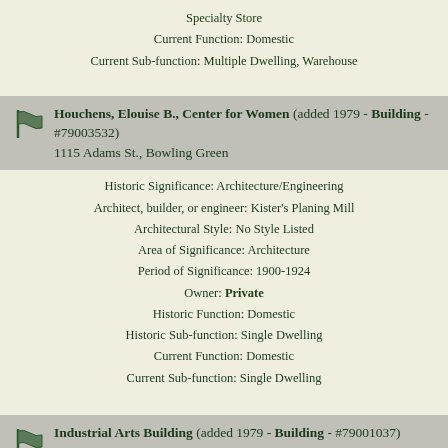Specialty Store
Current Function: Domestic
Current Sub-function: Multiple Dwelling, Warehouse
Houchens, Elouise B., Center for Women (added 1979 - Building - #79003532)
1115 Adams St., Bowling Green
Historic Significance: Architecture/Engineering
Architect, builder, or engineer: Kister's Planing Mill
Architectural Style: No Style Listed
Area of Significance: Architecture
Period of Significance: 1900-1924
Owner: Private
Historic Function: Domestic
Historic Sub-function: Single Dwelling
Current Function: Domestic
Current Sub-function: Single Dwelling
Industrial Arts Building (added 1979 - Building - #79001037)
Also known as Industrial Education Building